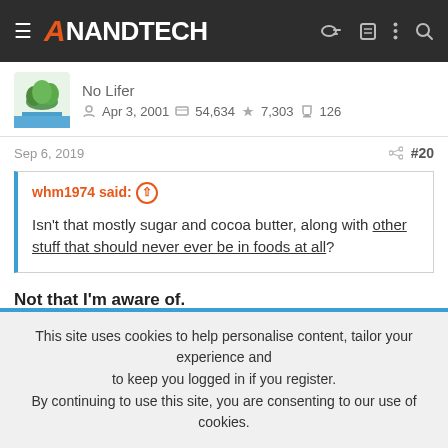AnandTech
No Lifer
Apr 3, 2001   54,634   7,303   126
Sep 6, 2019   #20
whm1974 said: ↑
Isn't that mostly sugar and cocoa butter, along with other stuff that should never ever be in foods at all?
Not that I'm aware of.
For example?
This site uses cookies to help personalise content, tailor your experience and to keep you logged in if you register.
By continuing to use this site, you are consenting to our use of cookies.